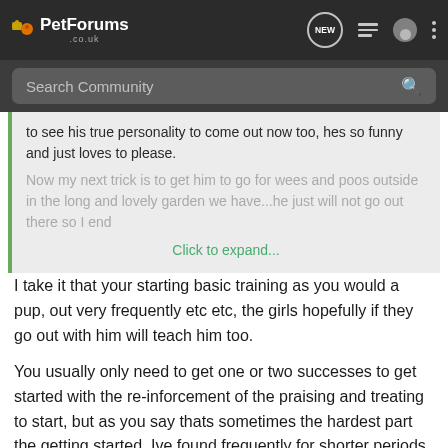PetForums .co.uk
Search Community
to see his true personality to come out now too, hes so funny and just loves to please.
Now my next trick is to get him to go for wees and poos outside in the long and lovely garden we have...he just will not go out there so I end
Click to expand...
I take it that your starting basic training as you would a pup, out very frequently etc etc, the girls hopefully if they go out with him will teach him too.
You usually only need to get one or two successes to get started with the re-inforcement of the praising and treating to start, but as you say thats sometimes the hardest part the getting started. Ive found frequently for shorter periods the best way, and watch them like a hawk, you often see, circling sniffing